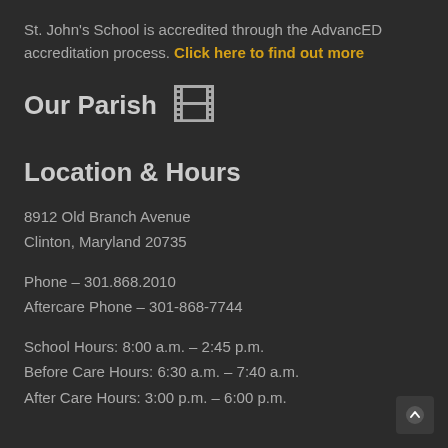St. John's School is accredited through the AdvancED accreditation process. Click here to find out more
Our Parish
[Figure (illustration): Church emoji — a golden/orange church building with a cross on top]
Location & Hours
8912 Old Branch Avenue
Clinton, Maryland 20735
Phone – 301.868.2010
Aftercare Phone – 301-868-7744
School Hours: 8:00 a.m. – 2:45 p.m.
Before Care Hours: 6:30 a.m. – 7:40 a.m.
After Care Hours: 3:00 p.m. – 6:00 p.m.